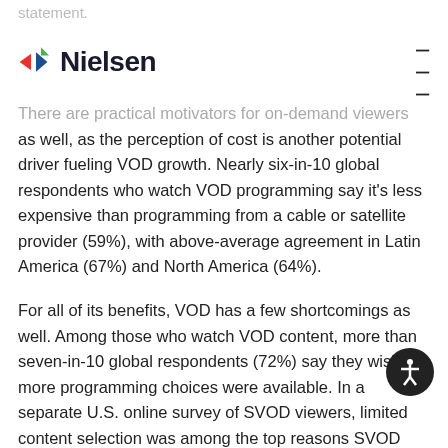statement.
Nielsen (logo)
There are practical motivators for on-demand viewers as well, as the perception of cost is another potential driver fueling VOD growth. Nearly six-in-10 global respondents who watch VOD programming say it's less expensive than programming from a cable or satellite provider (59%), with above-average agreement in Latin America (67%) and North America (64%).
For all of its benefits, VOD has a few shortcomings as well. Among those who watch VOD content, more than seven-in-10 global respondents (72%) say they wish more programming choices were available. In a separate U.S. online survey of SVOD viewers, limited content selection was among the top reasons SVOD subscribers stream less content today than when they first started